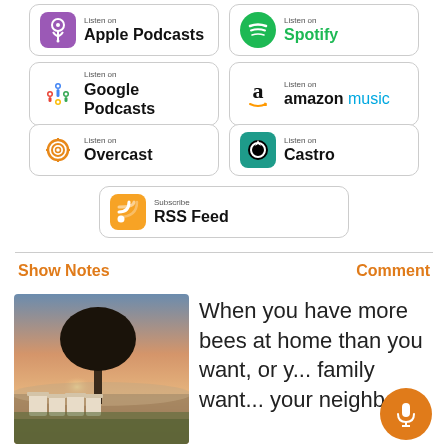[Figure (screenshot): Listen on Apple Podcasts button]
[Figure (screenshot): Listen on Spotify button]
[Figure (screenshot): Listen on Google Podcasts button]
[Figure (screenshot): Listen on Amazon Music button]
[Figure (screenshot): Listen on Overcast button]
[Figure (screenshot): Listen on Castro button]
[Figure (screenshot): Subscribe RSS Feed button]
Show Notes
Comment
[Figure (photo): Beehives lined up in a field at sunrise with a large tree silhouetted against the sky and misty background]
When you have more bees at home than you want, or y... family want... your neighbors